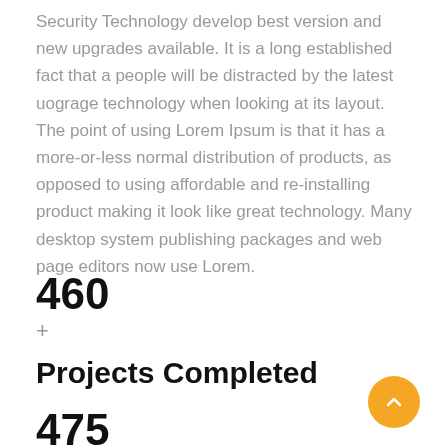Security Technology develop best version and new upgrades available. It is a long established fact that a people will be distracted by the latest uograge technology when looking at its layout. The point of using Lorem Ipsum is that it has a more-or-less normal distribution of products, as opposed to using affordable and re-installing product making it look like great technology. Many desktop system publishing packages and web page editors now use Lorem.
460
+
Projects Completed
475